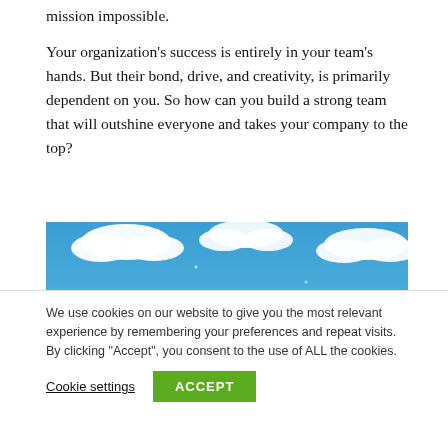mission impossible.
Your organization’s success is entirely in your team’s hands. But their bond, drive, and creativity, is primarily dependent on you. So how can you build a strong team that will outshine everyone and takes your company to the top?
[Figure (illustration): Cartoon illustration of the Powerpuff Girls characters against a blue sky with white clouds background. Three cartoon girl characters visible from the waist up.]
We use cookies on our website to give you the most relevant experience by remembering your preferences and repeat visits. By clicking “Accept”, you consent to the use of ALL the cookies.
Cookie settings   ACCEPT